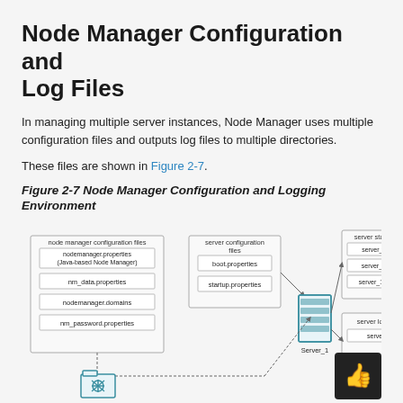Node Manager Configuration and Log Files
In managing multiple server instances, Node Manager uses multiple configuration files and outputs log files to multiple directories.
These files are shown in Figure 2-7.
Figure 2-7 Node Manager Configuration and Logging Environment
[Figure (engineering-diagram): Diagram showing Node Manager configuration files (nodemanager.properties (Java-based Node Manager), nm_data.properties, nodemanager.domains, nm_password.properties) connected to server configuration files (boot.properties, startup.properties) and a Server_1 icon, which connects to server state files (server_1.lck, server_1.pid, server_1.state) and server log files (server log files box partially visible). A folder icon is shown at the bottom connected via dashed line.]